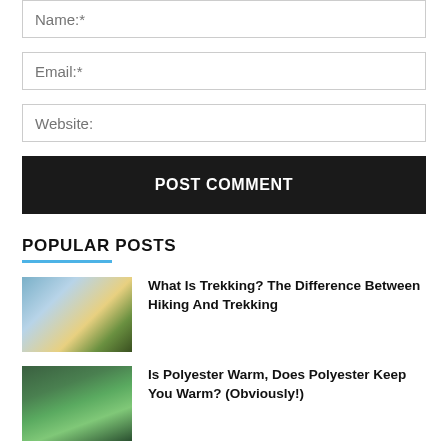[Figure (screenshot): Name input field with placeholder text 'Name:*']
[Figure (screenshot): Email input field with placeholder text 'Email:*']
[Figure (screenshot): Website input field with placeholder text 'Website:']
[Figure (screenshot): POST COMMENT button, black background, white bold text]
POPULAR POSTS
[Figure (photo): Person trekking on a mountain trail with trees and bright sky]
What Is Trekking? The Difference Between Hiking And Trekking
[Figure (photo): Person in blue jacket in a forest setting]
Is Polyester Warm, Does Polyester Keep You Warm? (Obviously!)